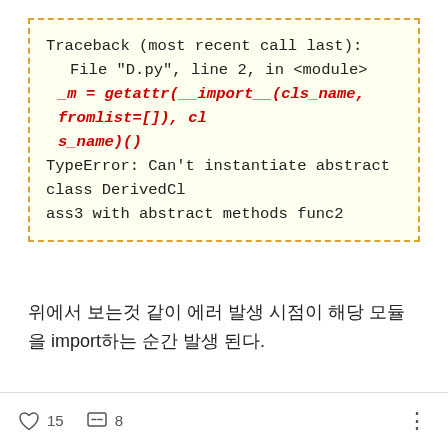[Figure (screenshot): Code traceback error box with yellow background and dashed orange border. Shows Python traceback: File D.py line 2 in module, _m = getattr(__import__(cls_name, fromlist=[]), cls_name)() in red italic bold, TypeError: Can't instantiate abstract class DerivedClass3 with abstract methods func2]
위에서 보는것 같이 에러 발생 시점이 해당 모듈을 import하는 순간 발생 된다.
15  8